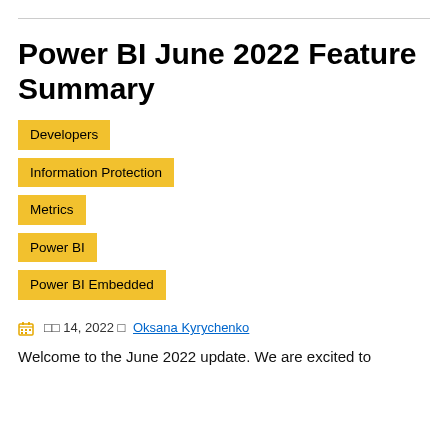Power BI June 2022 Feature Summary
Developers
Information Protection
Metrics
Power BI
Power BI Embedded
□□ 14, 2022 □ Oksana Kyrychenko
Welcome to the June 2022 update. We are excited to